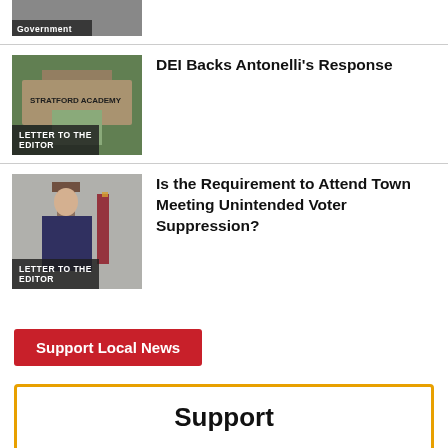[Figure (photo): Government tag bar visible at top, partial photo of person]
[Figure (photo): Photo of Stratford Academy building with 'LETTER TO THE EDITOR' tag]
DEI Backs Antonelli’s Response
[Figure (photo): Photo of man at podium with flag, 'LETTER TO THE EDITOR' tag]
Is the Requirement to Attend Town Meeting Unintended Voter Suppression?
Support Local News
Support